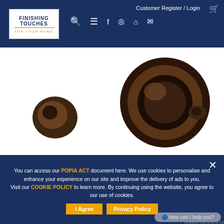Customer Register / Login
[Figure (logo): Finishing Touches For Your Home logo — white box with navy text and gold divider line]
[Figure (photo): Two bronze wall brackets (ring/curtain rod type) on white background — one smaller on the left, one larger on the right showing a ring bracket with dark bronze finish]
32MM ELEMENTS WALL BRACKETS (SINGLE) – Bronze (2 Pack)
R200.00
You can access our POPIA ACT document here. We use cookies to personalise and enhance your experience on our site and improve the delivery of ads to you. Visit our COOKIE POLICY to learn more. By continuing using the website, you agree to our use of cookies.
I Agree  Privacy Policy